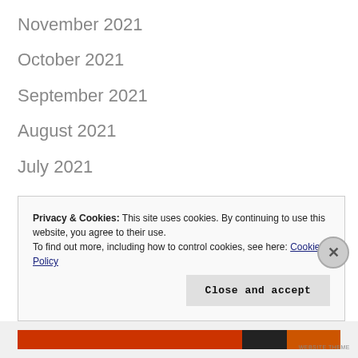November 2021
October 2021
September 2021
August 2021
July 2021
June 2021
May 2021
April 2021
March 2021
Privacy & Cookies: This site uses cookies. By continuing to use this website, you agree to their use.
To find out more, including how to control cookies, see here: Cookie Policy
Close and accept